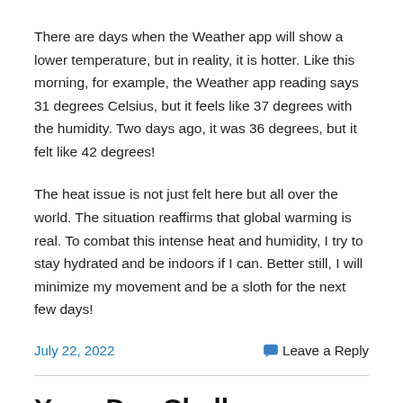There are days when the Weather app will show a lower temperature, but in reality, it is hotter. Like this morning, for example, the Weather app reading says 31 degrees Celsius, but it feels like 37 degrees with the humidity. Two days ago, it was 36 degrees, but it felt like 42 degrees!
The heat issue is not just felt here but all over the world. The situation reaffirms that global warming is real. To combat this intense heat and humidity, I try to stay hydrated and be indoors if I can. Better still, I will minimize my movement and be a sloth for the next few days!
July 22, 2022
Leave a Reply
Yoga Day Challenge